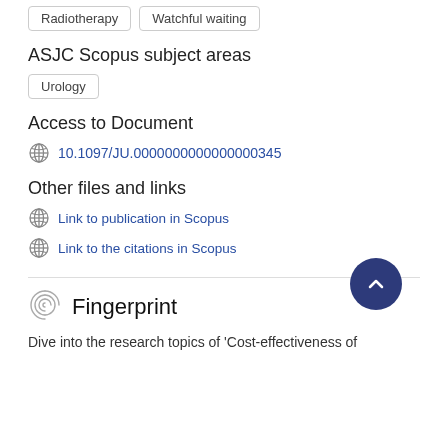Radiotherapy
Watchful waiting
ASJC Scopus subject areas
Urology
Access to Document
10.1097/JU.0000000000000000345
Other files and links
Link to publication in Scopus
Link to the citations in Scopus
Fingerprint
Dive into the research topics of 'Cost-effectiveness of